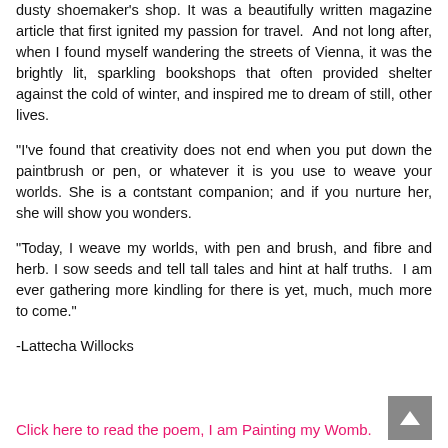dusty shoemaker's shop. It was a beautifully written magazine article that first ignited my passion for travel.  And not long after, when I found myself wandering the streets of Vienna, it was the brightly lit, sparkling bookshops that often provided shelter against the cold of winter, and inspired me to dream of still, other lives.
"I've found that creativity does not end when you put down the paintbrush or pen, or whatever it is you use to weave your worlds. She is a contstant companion; and if you nurture her, she will show you wonders.
"Today, I weave my worlds, with pen and brush, and fibre and herb. I sow seeds and tell tall tales and hint at half truths.  I am ever gathering more kindling for there is yet, much, much more to come."
-Lattecha Willocks
Click here to read the poem, I am Painting my Womb.